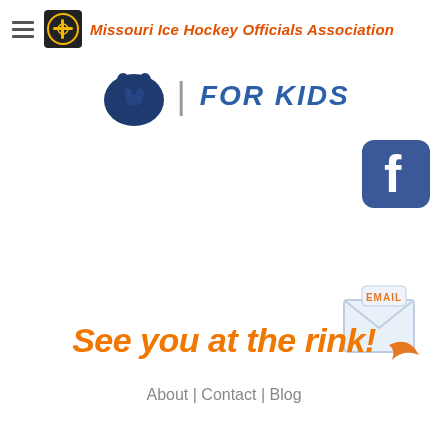Missouri Ice Hockey Officials Association
[Figure (logo): Penn State drop logo and FOR KIDS text banner]
[Figure (logo): Facebook social media icon button]
[Figure (illustration): Email icon with orange arrow and EMAIL text]
See you at the rink!
About | Contact | Blog